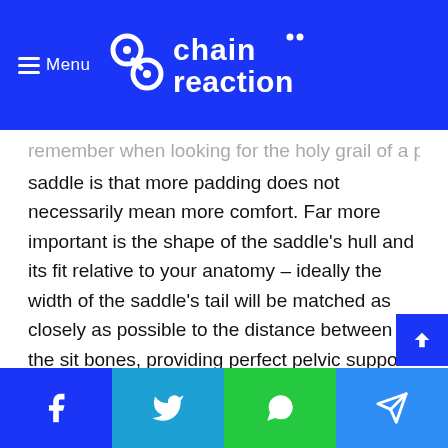Menu | Chain Reaction
remember when looking for the holy grail of a perfectly fitting saddle is that more padding does not necessarily mean more comfort. Far more important is the shape of the saddle's hull and its fit relative to your anatomy – ideally the width of the saddle's tail will be matched as closely as possible to the distance between the sit bones, providing perfect pelvic support. Recognising the importance of this, many manufacturers now offer their saddles in a range of widths.
When it comes to finding a saddle that fits, there is no substitute for trying a number of different models. Most riders will go through a number of saddles before finding one that fits, whereas others will transfer a trusted seat from one bike to
Facebook | Twitter | WhatsApp | Telegram